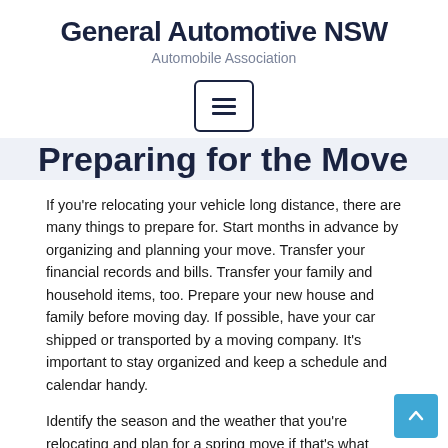General Automotive NSW
Automobile Association
[Figure (other): Hamburger menu button icon (three horizontal lines inside a rounded rectangle border)]
Preparing for the Move
If you’re relocating your vehicle long distance, there are many things to prepare for. Start months in advance by organizing and planning your move. Transfer your financial records and bills. Transfer your family and household items, too. Prepare your new house and family before moving day. If possible, have your car shipped or transported by a moving company. It’s important to stay organized and keep a schedule and calendar handy.
Identify the season and the weather that you’re relocating and plan for a spring move if that’s what you’re after. Note that during this season, work load usually picks up for transport so, take into consideration the supply and demand. Be sure to